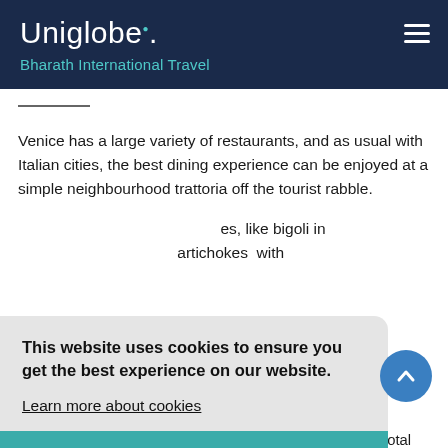Uniglobe. Bharath International Travel
Venice has a large variety of restaurants, and as usual with Italian cities, the best dining experience can be enjoyed at a simple neighbourhood trattoria off the tourist rabble.
...es, like bigoli in ... artichokes with ...
This website uses cookies to ensure you get the best experience on our website. Learn more about cookies
Agree
...the me...see ...vice inc... or 12% added/charged means that another 12% of the total cost will be added to your bill. "Non-cover" means no service fee will be included in the price and there will be no...